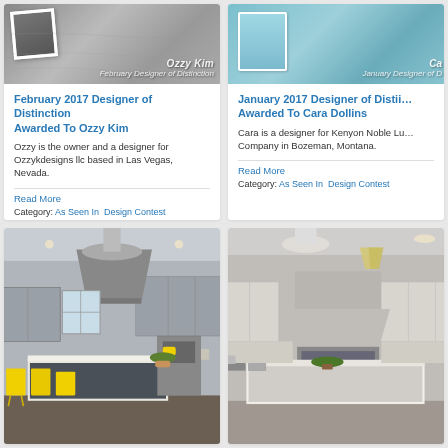[Figure (photo): Ozzy Kim February Designer of Distinction promotional image with photo frame and text overlay]
February 2017 Designer of Distinction Awarded To Ozzy Kim
Ozzy is the owner and a designer for Ozzykdesigns llc based in Las Vegas, Nevada.
Read More
Category: As Seen In   Design Contest
[Figure (photo): Cara Dollins January Designer of Distinction promotional image with appliance and text overlay]
January 2017 Designer of Distinction Awarded To Cara Dollins
Cara is a designer for Kenyon Noble Lumber Company in Bozeman, Montana.
Read More
Category: As Seen In   Design Contest
[Figure (photo): Modern kitchen interior with yellow bar stools, gray cabinets, white island, and pendant light]
[Figure (photo): Elegant kitchen interior with white cabinets, pendant lights, and island]